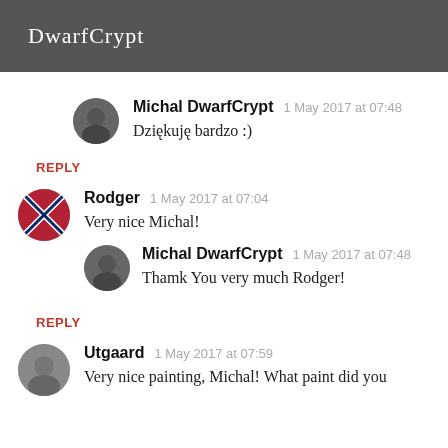DwarfCrypt
Michal DwarfCrypt  1 May 2017 at 07:48
Dziękuję bardzo :)
REPLY
Rodger  1 May 2017 at 07:04
Very nice Michal!
Michal DwarfCrypt  1 May 2017 at 07:48
Thamk You very much Rodger!
REPLY
Utgaard  1 May 2017 at 07:59
Very nice painting, Michal! What paint did you